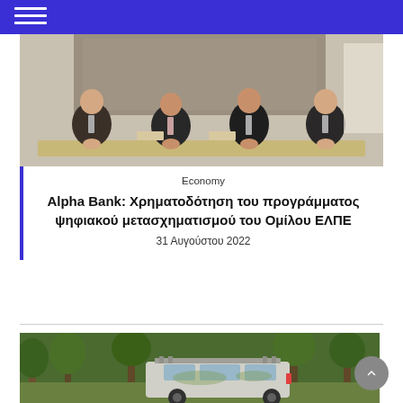Navigation menu bar
[Figure (photo): Four men in dark suits sitting at a conference table in a formal meeting room with a decorative wall panel behind them.]
Economy
Alpha Bank: Χρηματοδότηση του προγράμματος ψηφιακού μετασχηματισμού του Ομίλου ΕΛΠΕ
31 Αυγούστου 2022
[Figure (photo): SUV car (Land Rover Defender) driving through a lush green forest.]